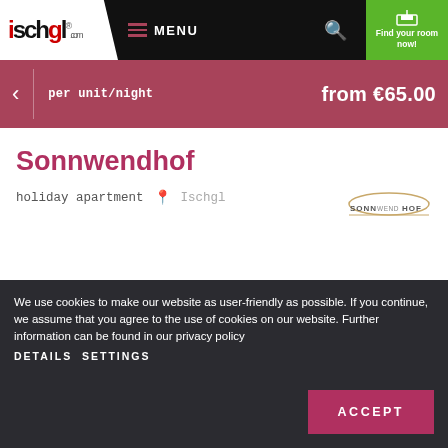ischgl.com — MENU — Find your room now!
per unit/night   from €65.00
Sonnwendhof
holiday apartment   Ischgl
[Figure (logo): Sonnwendhof logo with stylized arch graphic]
We use cookies to make our website as user-friendly as possible. If you continue, we assume that you agree to the use of cookies on our website. Further information can be found in our privacy policy DETAILS SETTINGS
ACCEPT